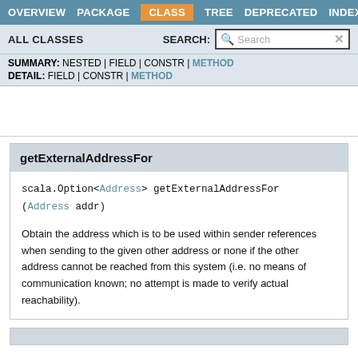OVERVIEW  PACKAGE  CLASS  TREE  DEPRECATED  INDEX
ALL CLASSES  SEARCH:
SUMMARY: NESTED | FIELD | CONSTR | METHOD
DETAIL: FIELD | CONSTR | METHOD
getExternalAddressFor
scala.Option<Address> getExternalAddressFor(Address addr)
Obtain the address which is to be used within sender references when sending to the given other address or none if the other address cannot be reached from this system (i.e. no means of communication known; no attempt is made to verify actual reachability).